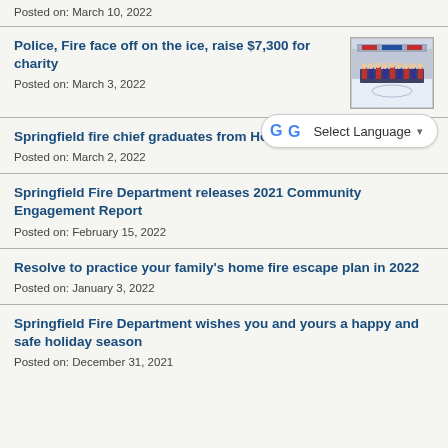Posted on: March 10, 2022
Police, Fire face off on the ice, raise $7,300 for charity
Posted on: March 3, 2022
[Figure (photo): Group photo of people on an ice rink]
Springfield fire chief graduates from Homeland Security program
Posted on: March 2, 2022
Springfield Fire Department releases 2021 Community Engagement Report
Posted on: February 15, 2022
Resolve to practice your family's home fire escape plan in 2022
Posted on: January 3, 2022
Springfield Fire Department wishes you and yours a happy and safe holiday season
Posted on: December 31, 2021